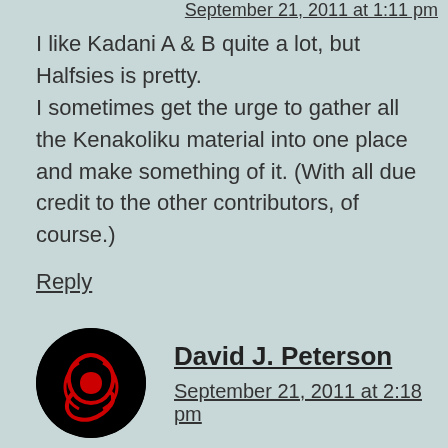I like Kadani A & B quite a lot, but Halfsies is pretty.
I sometimes get the urge to gather all the Kenakoliku material into one place and make something of it. (With all due credit to the other contributors, of course.)
Reply
David J. Peterson
September 21, 2011 at 2:18 pm